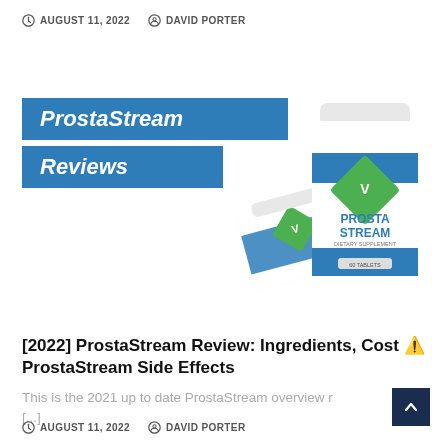AUGUST 11, 2022   DAVID PORTER
[Figure (photo): ProstaStream dietary supplement product image showing two white bottles with blue and green labels, alongside two blue text badge overlays reading 'ProstaStream' and 'Reviews']
[2022] ProstaStream Review: Ingredients, Cost ⚠️ ProstaStream Side Effects
This is the 2021 up to date ProstaStream overview r... [...]
AUGUST 11, 2022   DAVID PORTER